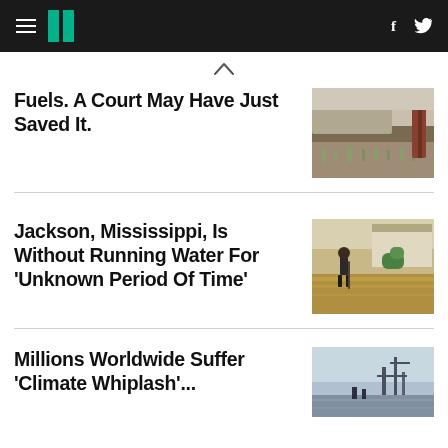HuffPost navigation header with logo, hamburger menu, Facebook and Twitter icons
Fuels. A Court May Have Just Saved It.
[Figure (photo): Outdoor landscape photo showing pipes and vegetation]
Jackson, Mississippi, Is Without Running Water For 'Unknown Period Of Time'
[Figure (photo): Person wading through flood water near a building with shrubs]
Millions Worldwide Suffer 'Climate Whiplash'...